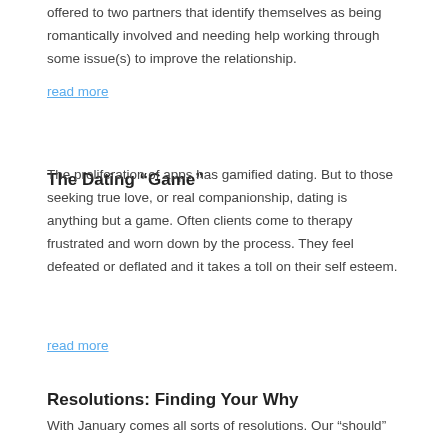offered to two partners that identify themselves as being romantically involved and needing help working through some issue(s) to improve the relationship.
read more
The Dating “Game”
The proliferation of apps has gamified dating. But to those seeking true love, or real companionship, dating is anything but a game. Often clients come to therapy frustrated and worn down by the process. They feel defeated or deflated and it takes a toll on their self esteem.
read more
Resolutions: Finding Your Why
With January comes all sorts of resolutions. Our “should”